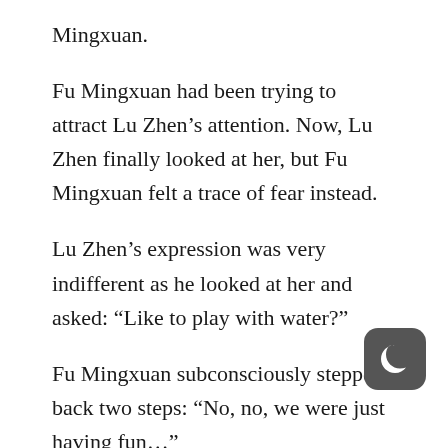Mingxuan.
Fu Mingxuan had been trying to attract Lu Zhen’s attention. Now, Lu Zhen finally looked at her, but Fu Mingxuan felt a trace of fear instead.
Lu Zhen’s expression was very indifferent as he looked at her and asked: “Like to play with water?”
Fu Mingxuan subconsciously stepped back two steps: “No, no, we were just having fun…”
Soon Zhen divine spoke: “No, no, we were just...